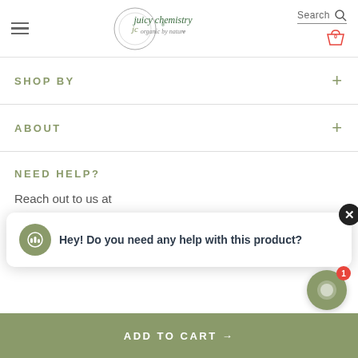[Figure (logo): Juicy Chemistry organic by nature logo with circular emblem and text]
SHOP BY
ABOUT
NEED HELP?
Reach out to us at
hello@juicychemistry.com.au
[Figure (screenshot): Chat popup: Hey! Do you need any help with this product?]
ADD TO CART →